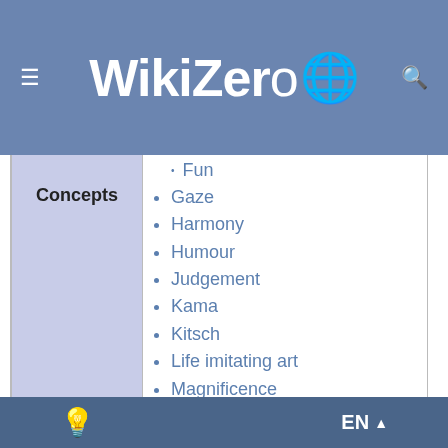WikiZero
Fun
Gaze
Harmony
Humour
Judgement
Kama
Kitsch
Life imitating art
Magnificence
Mimesis
Perception
Quality
Rasa
EN